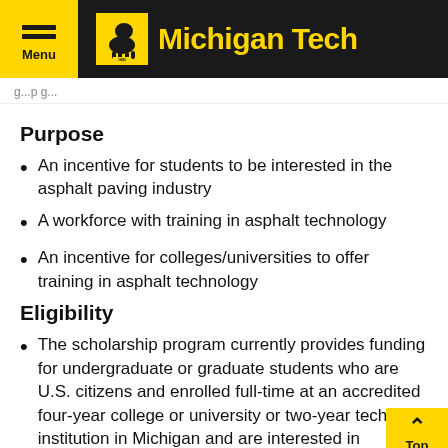Michigan Tech
Purpose
An incentive for students to be interested in the asphalt paving industry
A workforce with training in asphalt technology
An incentive for colleges/universities to offer training in asphalt technology
Eligibility
The scholarship program currently provides funding for undergraduate or graduate students who are U.S. citizens and enrolled full-time at an accredited four-year college or university or two-year technical institution in Michigan and are interested in